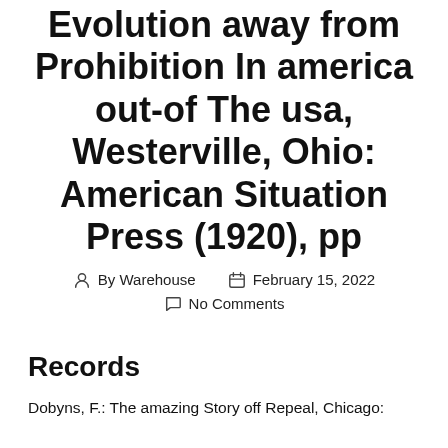Evolution away from Prohibition In america out-of The usa, Westerville, Ohio: American Situation Press (1920), pp
By Warehouse   February 15, 2022
No Comments
Records
Dobyns, F.: The amazing Story off Repeal, Chicago: